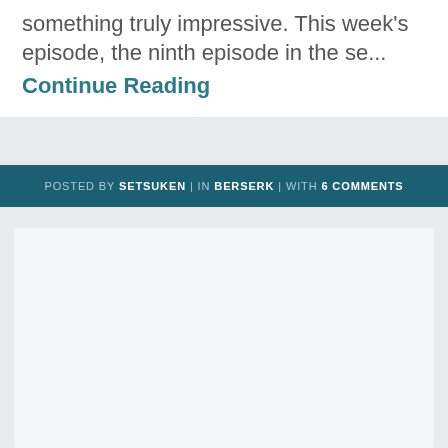something truly impressive. This week's episode, the ninth episode in the se...
Continue Reading
POSTED BY SETSUKEN | IN BERSERK | WITH 6 COMMENTS
[Figure (photo): Anime screenshot from Berserk showing a male character with dark hair holding a sword close to his face, with warm golden-brown tones in the background]